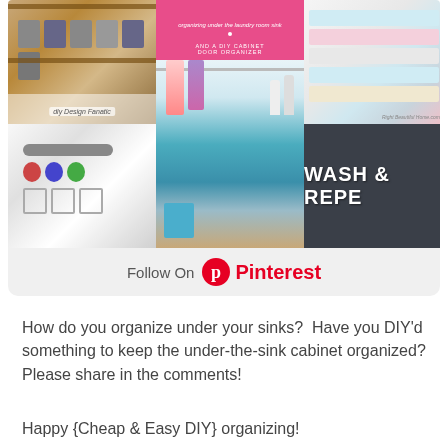[Figure (photo): Pinterest collage of home organization photos including storage shelves with bins, under-sink cabinet organization DIY, folded towels/linens, under-cabinet storage with rolls and mugs, and a 'Wash & Repeat' sign on dark background. Below the collage is a 'Follow On Pinterest' button.]
How do you organize under your sinks?  Have you DIY'd something to keep the under-the-sink cabinet organized? Please share in the comments!
Happy {Cheap & Easy DIY} organizing!